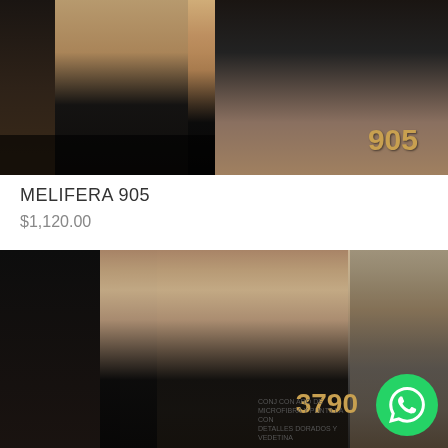[Figure (photo): Product photo of black underwear/lingerie item MELIFERA 905, showing model's lower body in dark studio/wooden background setting, with product number 905 displayed in gold text in the lower right corner]
MELIFERA 905
$1,120.00
[Figure (photo): Product photo of black bra lingerie set 3790 - CONJ CON ARO DE MICROFIBRA Y PUNTILLA CON DETALLES DORADOS Y VEDETINA, showing a female model with brown hair wearing black lingerie, with product number 3790 and description text visible, plus a WhatsApp contact button in the bottom right corner]